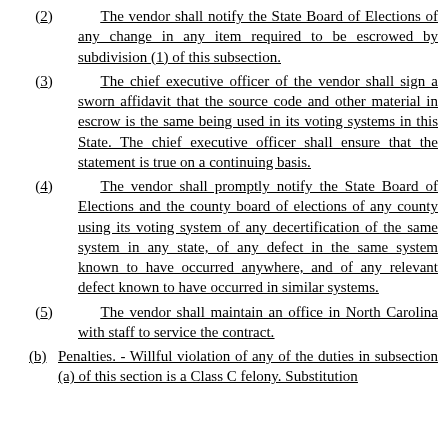(2) The vendor shall notify the State Board of Elections of any change in any item required to be escrowed by subdivision (1) of this subsection.
(3) The chief executive officer of the vendor shall sign a sworn affidavit that the source code and other material in escrow is the same being used in its voting systems in this State. The chief executive officer shall ensure that the statement is true on a continuing basis.
(4) The vendor shall promptly notify the State Board of Elections and the county board of elections of any county using its voting system of any decertification of the same system in any state, of any defect in the same system known to have occurred anywhere, and of any relevant defect known to have occurred in similar systems.
(5) The vendor shall maintain an office in North Carolina with staff to service the contract.
(b) Penalties. - Willful violation of any of the duties in subsection (a) of this section is a Class C felony. Substitution